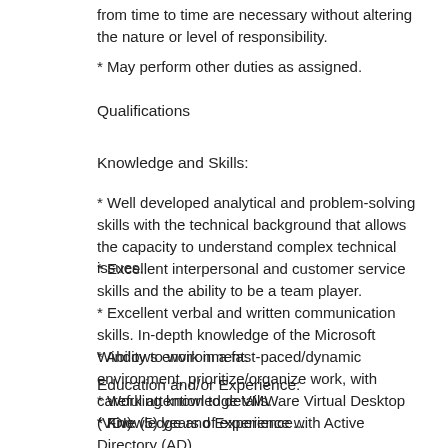from time to time are necessary without altering the nature or level of responsibility.
* May perform other duties as assigned.
Qualifications
Knowledge and Skills:
* Well developed analytical and problem-solving skills with the technical background that allows the capacity to understand complex technical issues.
* Excellent interpersonal and customer service skills and the ability to be a team player.
* Excellent verbal and written communication skills. In-depth knowledge of the Microsoft Windows environment.
* Ability to work in a fast-paced/dynamic environment, prioritize/organize work, with careful attention to details.
* Working knowledge VMWare Virtual Desktop (VDI).
* Knowledge and Experience with Active Directory (AD).
Education and/or Experience:
* Five (5) years of experience...